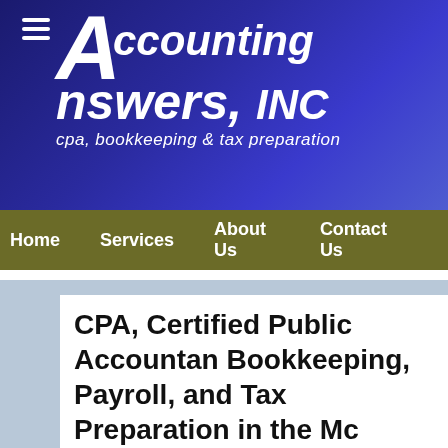[Figure (logo): Accounting Answers, INC logo — white italic text on blue-purple gradient background reading 'Accounting Answers, INC' with tagline 'cpa, bookkeeping & tax preparation']
Home   Services   About Us   Contact Us
CPA, Certified Public Accountant, Bookkeeping, Payroll, and Tax Preparation in the Mc Farland, WI, Brooklyn, WI, Cottage Grove, WI, Fitchburg, WI, and Madison, WI
Accounting Answers provides Professional CPA, Tax Preparation and Bookkeeping Services to businesses and individuals in the Mc Farland, WI area. We handle small business bookkeeping services, payroll processing and bookkeeping software.
Call our friendly and professional staff with any questions about